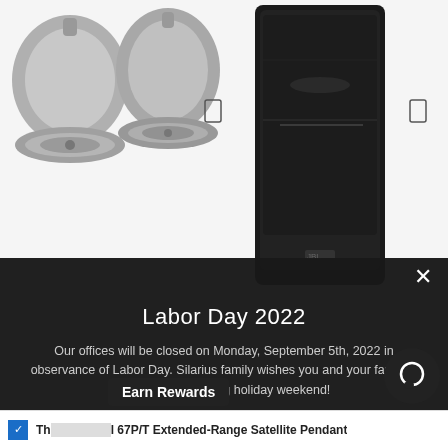[Figure (photo): Two silver pendant satellite speakers on white background]
[Figure (photo): Tall black professional speaker tower/column on white background]
Labor Day 2022
Our offices will be closed on Monday, September 5th, 2022 in observance of Labor Day. Silarius family wishes you and your family a happy and safe long holiday weekend!
Enter your email
SUBSCRIBE
ADD SELECTION TO CART
Total price
Earn Rewards
Th... l 67P/T Extended-Range Satellite Pendant